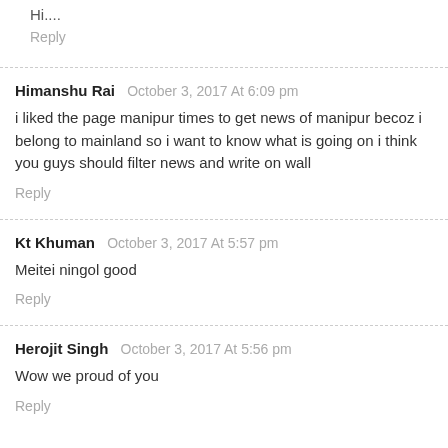Hi....
Reply
Himanshu Rai  October 3, 2017 At 6:09 pm
i liked the page manipur times to get news of manipur becoz i belong to mainland so i want to know what is going on i think you guys should filter news and write on wall
Reply
Kt Khuman  October 3, 2017 At 5:57 pm
Meitei ningol good
Reply
Herojit Singh  October 3, 2017 At 5:56 pm
Wow we proud of you
Reply